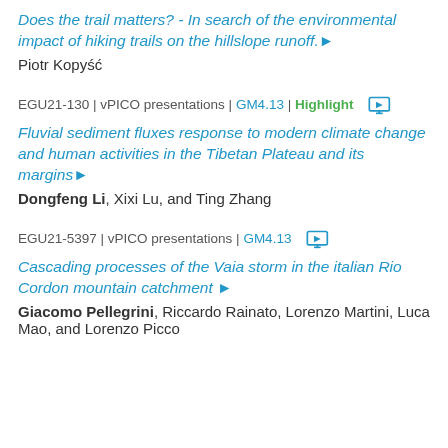Does the trail matters? - In search of the environmental impact of hiking trails on the hillslope runoff.
Piotr Kopyść
EGU21-130 | vPICO presentations | GM4.13 | Highlight
Fluvial sediment fluxes response to modern climate change and human activities in the Tibetan Plateau and its margins
Dongfeng Li, Xixi Lu, and Ting Zhang
EGU21-5397 | vPICO presentations | GM4.13
Cascading processes of the Vaia storm in the italian Rio Cordon mountain catchment
Giacomo Pellegrini, Riccardo Rainato, Lorenzo Martini, Luca Mao, and Lorenzo Picco